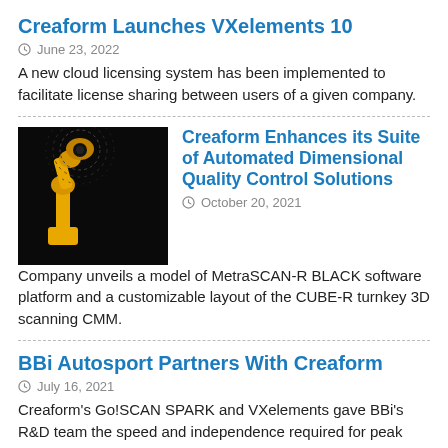Creaform Launches VXelements 10
June 23, 2022
A new cloud licensing system has been implemented to facilitate license sharing between users of a given company.
[Figure (photo): Yellow robotic arm / scanning device on black background]
Creaform Enhances its Suite of Automated Dimensional Quality Control Solutions
October 20, 2021
Company unveils a model of MetraSCAN-R BLACK software platform and a customizable layout of the CUBE-R turnkey 3D scanning CMM.
BBi Autosport Partners With Creaform
July 16, 2021
Creaform's Go!SCAN SPARK and VXelements gave BBi's R&D team the speed and independence required for peak